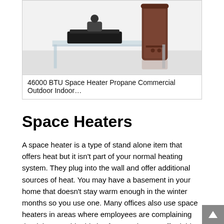[Figure (photo): Product image of a 46000 BTU Space Heater Propane Commercial Outdoor Indoor device, shown on a white surface with a black tray and brown cylindrical heater unit.]
46000 BTU Space Heater Propane Commercial Outdoor Indoor…
Space Heaters
A space heater is a type of stand alone item that offers heat but it isn't part of your normal heating system. They plug into the wall and offer additional sources of heat. You may have a basement in your home that doesn't stay warm enough in the winter months so you use one. Many offices also use space heaters in areas where employees are complaining that it is too cold. This is often much more affordable than installing a new heating system in your home or business.